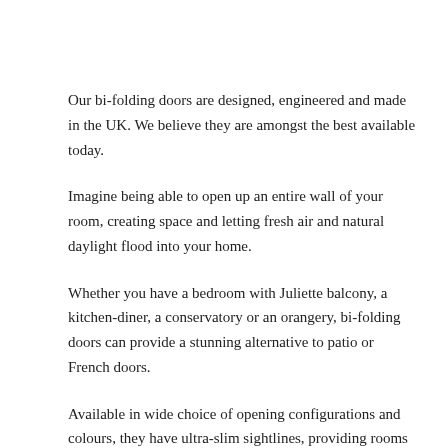Our bi-folding doors are designed, engineered and made in the UK. We believe they are amongst the best available today.
Imagine being able to open up an entire wall of your room, creating space and letting fresh air and natural daylight flood into your home.
Whether you have a bedroom with Juliette balcony, a kitchen-diner, a conservatory or an orangery, bi-folding doors can provide a stunning alternative to patio or French doors.
Available in wide choice of opening configurations and colours, they have ultra-slim sightlines, providing rooms with a clean, modern appearance.